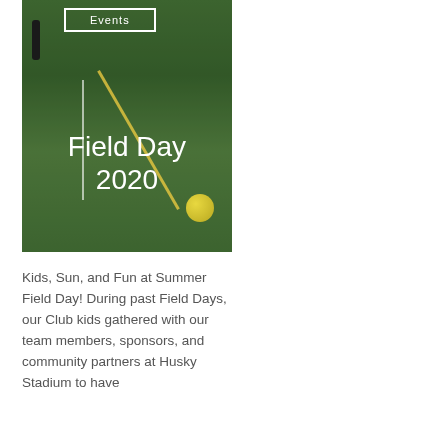[Figure (photo): Outdoor sports field (artificial turf) with yellow diagonal line markings, a figure standing in the background, and a yellow-green ball on the field. Text overlays read 'Events' in a white box at top and 'Field Day 2020' in large white text in the lower portion.]
Kids, Sun, and Fun at Summer Field Day! During past Field Days, our Club kids gathered with our team members, sponsors, and community partners at Husky Stadium to have